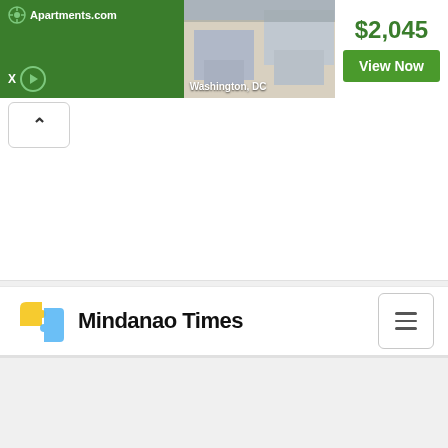[Figure (screenshot): Apartments.com advertisement banner with green background on left showing logo, apartment photo in center showing Washington DC listing, price $2,045 and View Now button on right]
[Figure (logo): Mindanao Times newspaper logo with yellow and blue puzzle piece icon and bold text 'Mindanao Times']
[Figure (other): Hamburger menu button (three horizontal lines) on right side of navigation bar]